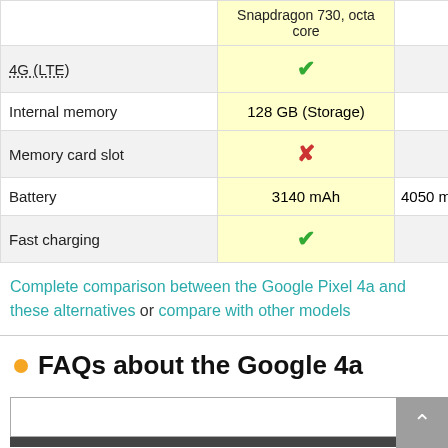| Feature | Google Pixel 4a (Snapdragon 730, octa core) | Alternative |
| --- | --- | --- |
| 4G (LTE) | ✓ | ✓ |
| Internal memory | 128 GB (Storage) | 64 GB (Storage) |
| Memory card slot | ✗ | ✓ |
| Battery | 3140 mAh | 4050 mAh, user replac… |
| Fast charging | ✓ | ✓ |
Complete comparison between the Google Pixel 4a and these alternatives or compare with other models
FAQs about the Google 4a
NewMobile uses cookies. Hide this message